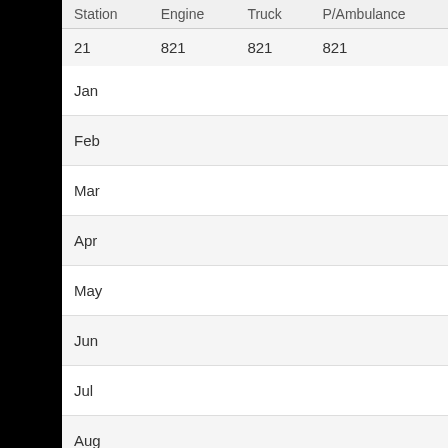| Station | Engine | Truck | P/Ambulance |
| --- | --- | --- | --- |
| 21 | 821 | 821 | 821 |
| Jan |  |  |  |
| Feb |  |  |  |
| Mar |  |  |  |
| Apr |  |  |  |
| May |  |  |  |
| Jun |  |  |  |
| Jul |  |  |  |
| Aug |  |  |  |